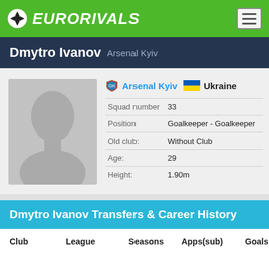EURORIVALS
Dmytro Ivanov  Arsenal Kyiv
[Figure (photo): Silhouette placeholder photo of a player, grey background]
|  |  |
| --- | --- |
| Squad number | 33 |
| Position | Goalkeeper - Goalkeeper |
| Old club: | Without Club |
| Age: | 29 |
| Height: | 1.90m |
Dmytro Ivanov Transfers & Career History
| Club | League | Seasons | Apps(sub) | Goals |
| --- | --- | --- | --- | --- |